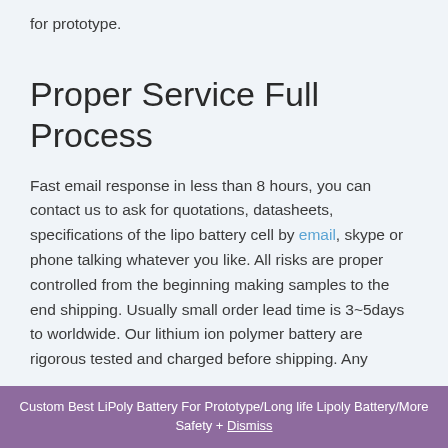for prototype.
Proper Service Full Process
Fast email response in less than 8 hours, you can contact us to ask for quotations, datasheets, specifications of the lipo battery cell by email, skype or phone talking whatever you like. All risks are proper controlled from the beginning making samples to the end shipping. Usually small order lead time is 3~5days to worldwide. Our lithium ion polymer battery are rigorous tested and charged before shipping. Any
Custom Best LiPoly Battery For Prototype/Long life Lipoly Battery/More Safety + Dismiss